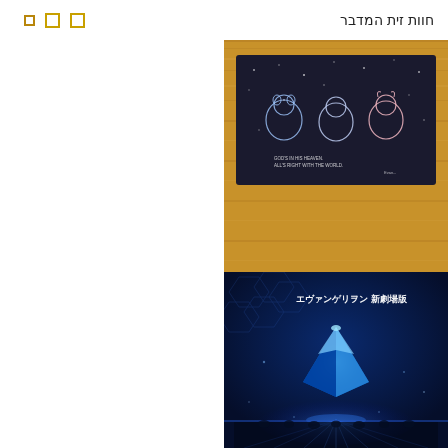חוות זית המדבר
[Figure (photo): Dark merchandise card/fabric with anime chibi character illustrations on a starry night background placed on a wooden surface. Text on card reads 'GOD'S IN HIS HEAVEN. ALL'S RIGHT WITH THE WORLD.' - Evangelion characters in chibi style.]
[Figure (photo): Evangelion Shin Gekijouban (New Theatrical Edition) blue-themed book/pamphlet cover featuring a glowing blue pyramid/crystal shape with light rays against a dark blue background with geometric patterns. Japanese text reads 'エヴァンゲリヲン新劇場版'.]